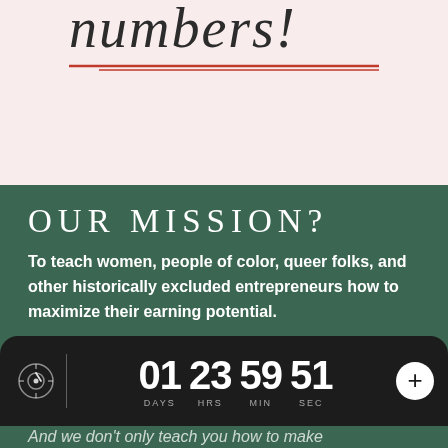numbers!
OUR MISSION?
To teach women, people of color, queer folks, and other historically excluded entrepreneurs how to maximize their earning potential.
We show you how to earn more every month
[Figure (infographic): Countdown timer bar showing 01 DAYS 23 HRS 59 MIN 51 SEC on dark background with target icon and plus button]
And we don't only teach you how to make